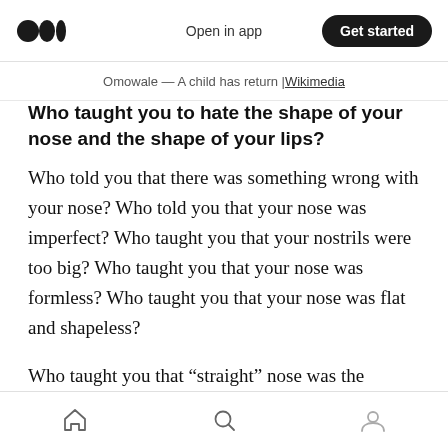Open in app | Get started
Omowale — A child has return | Wikimedia
Who taught you to hate the shape of your nose and the shape of your lips?
Who told you that there was something wrong with your nose? Who told you that your nose was imperfect? Who taught you that your nostrils were too big? Who taught you that your nose was formless? Who taught you that your nose was flat and shapeless?
Who taught you that “straight” nose was the epitome of noses? Who taught you that your nose
Home | Search | Profile